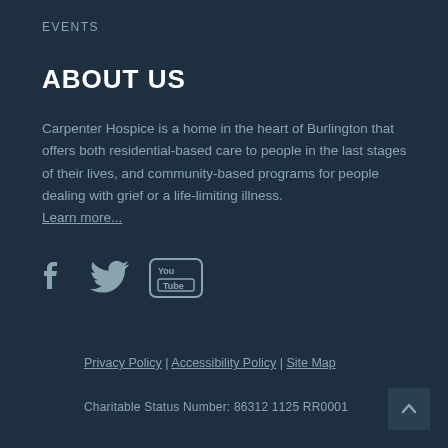EVENTS
ABOUT US
Carpenter Hospice is a home in the heart of Burlington that offers both residential-based care to people in the last stages of their lives, and community-based programs for people dealing with grief or a life-limiting illness.
Learn more...
[Figure (illustration): Social media icons: Facebook, Twitter, YouTube]
Copyright © Carpenter Hospice 2022
Privacy Policy | Accessibility Policy | Site Map
Charitable Status Number: 86312 1125 RR0001